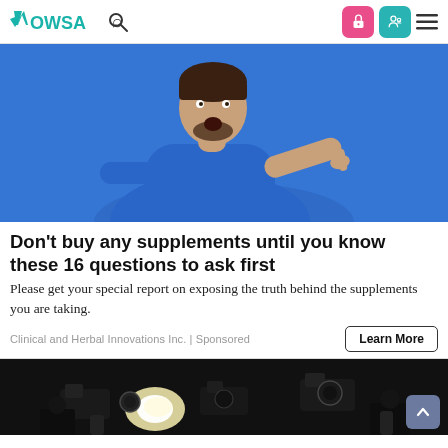Wowsa
[Figure (photo): Man in blue sweater with surprised expression pointing sideways against blue background]
Don't buy any supplements until you know these 16 questions to ask first
Please get your special report on exposing the truth behind the supplements you are taking.
Clinical and Herbal Innovations Inc. | Sponsored
[Figure (photo): Paparazzi photographers with camera flashes in dark setting]